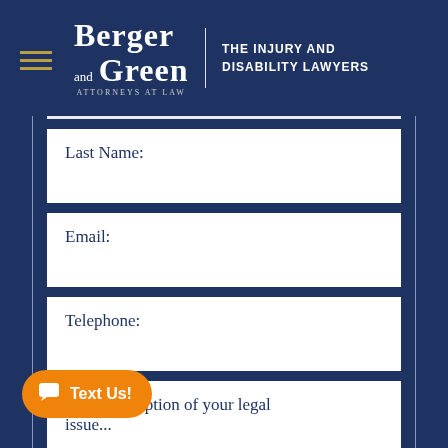[Figure (logo): Berger and Green Attorneys at Law logo with hamburger menu icon and tagline THE INJURY AND DISABILITY LAWYERS]
Last Name:
Email:
Telephone:
Brief description of your legal issue...
Text Us!